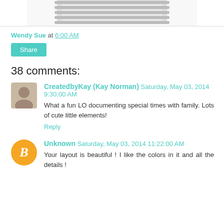[Figure (photo): Partial image of what appears to be a notebook or journal, showing spiral binding at the top]
Wendy Sue at 6:00 AM
Share
38 comments:
CreatedbyKay (Kay Norman) Saturday, May 03, 2014 9:30:00 AM
What a fun LO documenting special times with family. Lots of cute little elements!
Reply
Unknown Saturday, May 03, 2014 11:22:00 AM
Your layout is beautiful ! I like the colors in it and all the details !